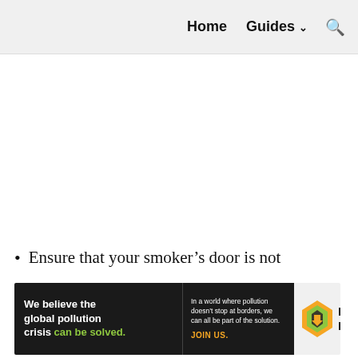Home  Guides  🔍
Ensure that your smoker's door is not
[Figure (other): Pure Earth advertisement banner: 'We believe the global pollution crisis can be solved. In a world where pollution doesn't stop at borders, we can all be part of the solution. JOIN US.' with Pure Earth logo.]
×